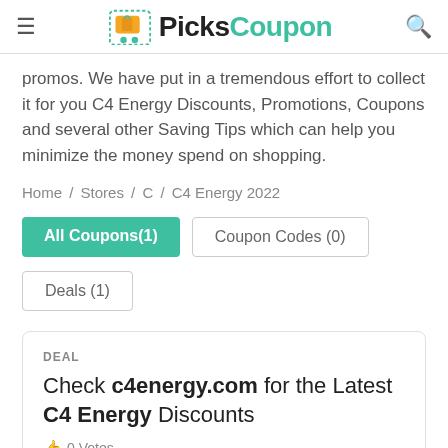PicksCoupon
promos. We have put in a tremendous effort to collect it for you C4 Energy Discounts, Promotions, Coupons and several other Saving Tips which can help you minimize the money spend on shopping.
Home / Stores / C / C4 Energy 2022
All Coupons(1)
Coupon Codes (0)
Deals (1)
DEAL
Check c4energy.com for the Latest C4 Energy Discounts
0 Votes